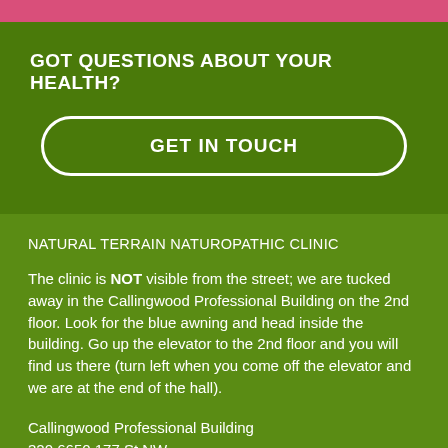GOT QUESTIONS ABOUT YOUR HEALTH?
GET IN TOUCH
NATURAL TERRAIN NATUROPATHIC CLINIC
The clinic is NOT visible from the street; we are tucked away in the Callingwood Professional Building on the 2nd floor. Look for the blue awning and head inside the building. Go up the elevator to the 2nd floor and you will find us there (turn left when you come off the elevator and we are at the end of the hall).
Callingwood Professional Building